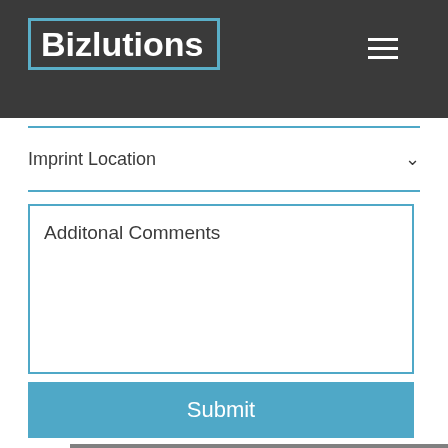Bizlutions
Imprint Method
Imprint Location
Additonal Comments
Submit
Contact
(973) 908-7431
info@bizlutionsusa.com